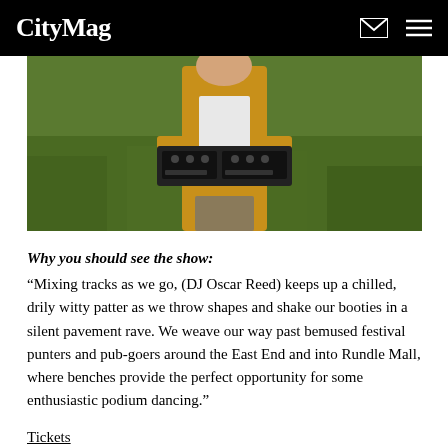CityMag
[Figure (photo): Person in yellow/mustard jacket holding a DJ controller/mixer, standing outdoors on grass]
Why you should see the show: “Mixing tracks as we go, (DJ Oscar Reed) keeps up a chilled, drily witty patter as we throw shapes and shake our booties in a silent pavement rave. We weave our way past bemused festival punters and pub-goers around the East End and into Rundle Mall, where benches provide the perfect opportunity for some enthusiastic podium dancing.”
Tickets
Read more